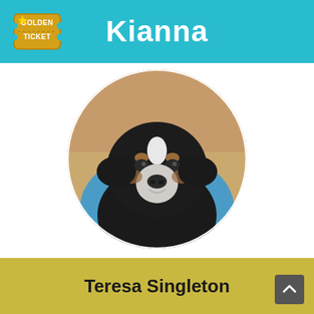[Figure (logo): Golden Ticket logo — a golden ticket graphic with text 'GOLDEN TICKET' in the top-left of the teal header bar]
Kianna
[Figure (photo): Oval portrait photo of a black, tan, and white puppy (dog named Kianna) being held by a person in a blue shirt. The puppy is looking directly at the camera.]
Teresa Singleton